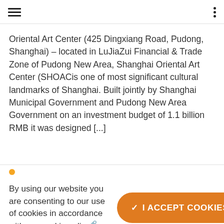≡  ⋮
Oriental Art Center (425 Dingxiang Road, Pudong, Shanghai) – located in LuJiaZui Financial & Trade Zone of Pudong New Area, Shanghai Oriental Art Center (SHOACis one of most significant cultural landmarks of Shanghai. Built jointly by Shanghai Municipal Government and Pudong New Area Government on an investment budget of 1.1 billion RMB it was designed [...]
By using our website you are consenting to our use of cookies in accordance with our cookie policy 🔗.
✓ I ACCEPT COOKIES